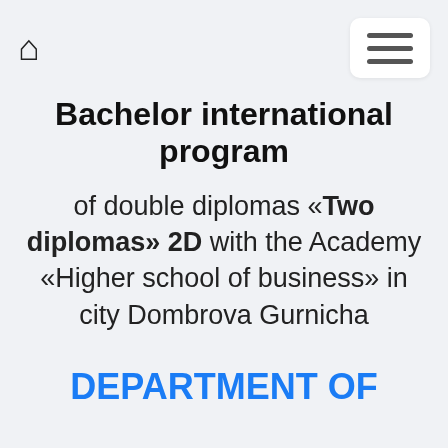home icon and hamburger menu navigation
Bachelor international program
of double diplomas «Two diplomas» 2D with the Academy «Higher school of business» in city Dombrova Gurnicha
DEPARTMENT OF